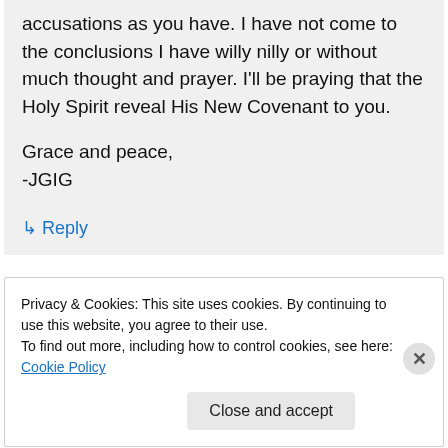accusations as you have. I have not come to the conclusions I have willy nilly or without much thought and prayer. I'll be praying that the Holy Spirit reveal His New Covenant to you.

Grace and peace,
-JGIG
↳ Reply
Privacy & Cookies: This site uses cookies. By continuing to use this website, you agree to their use.
To find out more, including how to control cookies, see here: Cookie Policy
Close and accept